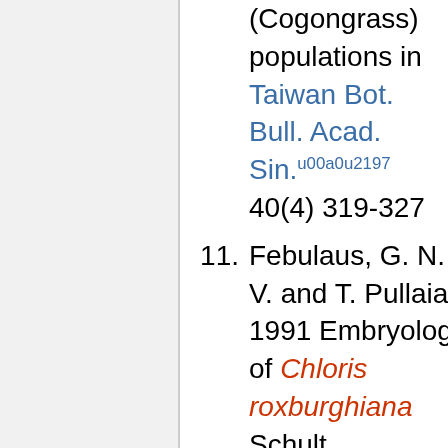(Cogongrass) populations in Taiwan Bot. Bull. Acad. Sin. 40(4) 319-327
11. Febulaus, G. N. V. and T. Pullaiah 1991 Embryology of Chloris roxburghiana Schult. (Poaceae) Taiwania 36(4): 303-310
12. Fosberg, F. Raymond and Sachet, Marie-Hélène 1982 Micronesian Poaceae: Critical and Distributional Notes